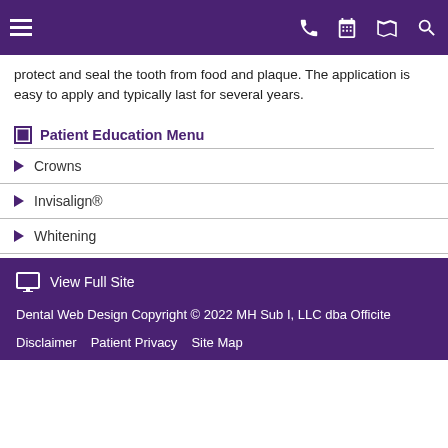Navigation header bar with hamburger menu, phone, calendar, map, and search icons
protect and seal the tooth from food and plaque. The application is easy to apply and typically last for several years.
Patient Education Menu
Crowns
Invisalign®
Whitening
View Full Site
Dental Web Design Copyright © 2022 MH Sub I, LLC dba Officite
Disclaimer   Patient Privacy   Site Map